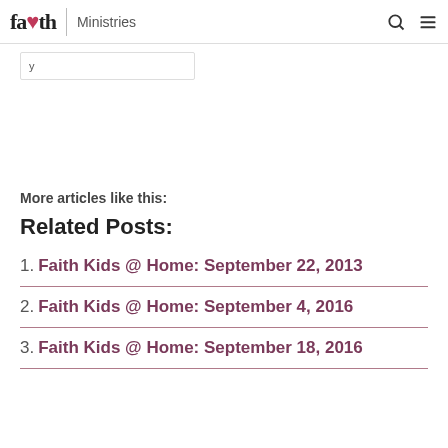faith | Ministries
y
More articles like this:
Related Posts:
1. Faith Kids @ Home: September 22, 2013
2. Faith Kids @ Home: September 4, 2016
3. Faith Kids @ Home: September 18, 2016